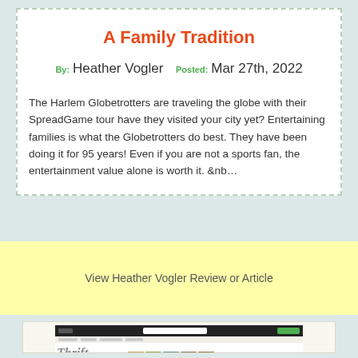A Family Tradition
By: Heather Vogler   Posted: Mar 27th, 2022
The Harlem Globetrotters are traveling the globe with their SpreadGame tour have they visited your city yet? Entertaining families is what the Globetrotters do best. They have been doing it for 95 years! Even if you are not a sports fan, the entertainment value alone is worth it. &nb…
View Heather Vogler Review or Article
[Figure (screenshot): Screenshot of a website called Thrift Schooling, showing a dark navigation bar at the top, the Thrift Schooling logo in gray italic text with food/nature thumbnail images beside it, a blue banner bar, and small content images below including a cityscape and a circular green icon.]